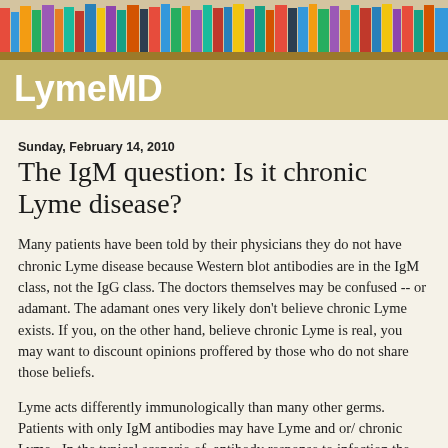[Figure (photo): Colorful bookshelf with many books of various colors arranged tightly together, viewed from slightly below]
LymeMD
Sunday, February 14, 2010
The IgM question: Is it chronic Lyme disease?
Many patients have been told by their physicians they do not have chronic Lyme disease because Western blot antibodies are in the IgM class, not the IgG class. The doctors themselves may be confused -- or adamant. The adamant ones very likely don't believe chronic Lyme exists. If you, on the other hand, believe chronic Lyme is real, you may want to discount opinions proffered by those who do not share those beliefs.
Lyme acts differently immunologically than many other germs. Patients with only IgM antibodies may have Lyme and or/ chronic Lyme.  In the typical scenario of  antibody response to infection the